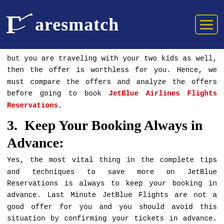Faresmatch
but you are traveling with your two kids as well, then the offer is worthless for you. Hence, we must compare the offers and analyze the offers before going to book JetBlue Airlines Flights Reservations.
3. Keep Your Booking Always in Advance:
Yes, the most vital thing in the complete tips and techniques to save more on JetBlue Reservations is always to keep your booking in advance. Last Minute JetBlue Flights are not a good offer for you and you should avoid this situation by confirming your tickets in advance. Generally, the right period to book Cheap JetBlue Flights is 90-Days or 3 Months in Advance for the passengers.
4. Never Lose Your Eyes From